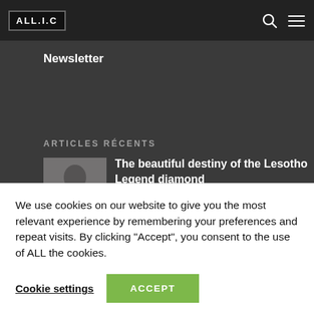ALL.I.C
Newsletter
ARTICLES RÉCENTS
The beautiful destiny of the Lesotho Legend diamond
[Figure (photo): Thumbnail photo of a woman wearing a necklace against a grey background]
We use cookies on our website to give you the most relevant experience by remembering your preferences and repeat visits. By clicking "Accept", you consent to the use of ALL the cookies.
Cookie settings  ACCEPT